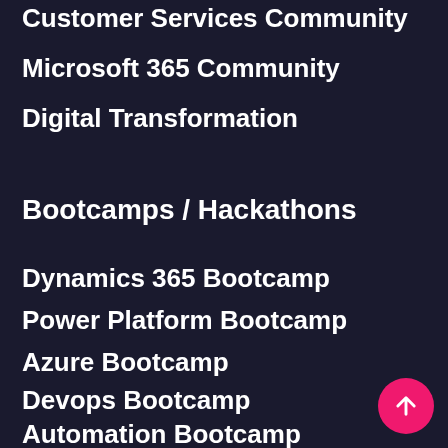Customer Services Community
Microsoft 365 Community
Digital Transformation
Bootcamps / Hackathons
Dynamics 365 Bootcamp
Power Platform Bootcamp
Azure Bootcamp
Devops Bootcamp
Automation Bootcamp